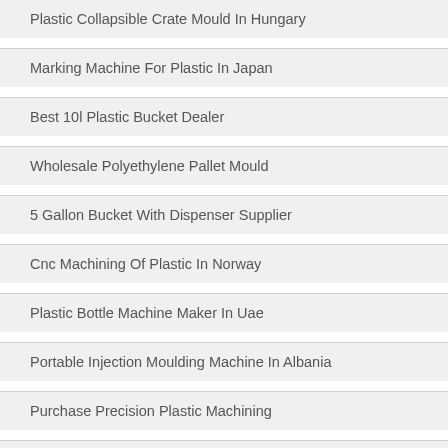Plastic Collapsible Crate Mould In Hungary
Marking Machine For Plastic In Japan
Best 10l Plastic Bucket Dealer
Wholesale Polyethylene Pallet Mould
5 Gallon Bucket With Dispenser Supplier
Cnc Machining Of Plastic In Norway
Plastic Bottle Machine Maker In Uae
Portable Injection Moulding Machine In Albania
Purchase Precision Plastic Machining
Affordable 250ml Pet Bottle Mold On Sale